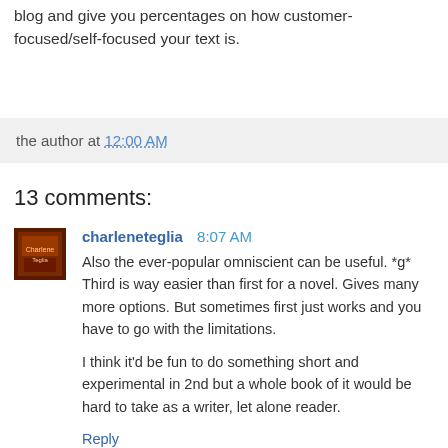that will read your website or blog and give you percentages on how customer-focused/self-focused your text is.
the author at 12:00 AM
13 comments:
charleneteglia 8:07 AM
Also the ever-popular omniscient can be useful. *g* Third is way easier than first for a novel. Gives many more options. But sometimes first just works and you have to go with the limitations.

I think it'd be fun to do something short and experimental in 2nd but a whole book of it would be hard to take as a writer, let alone reader.
Reply